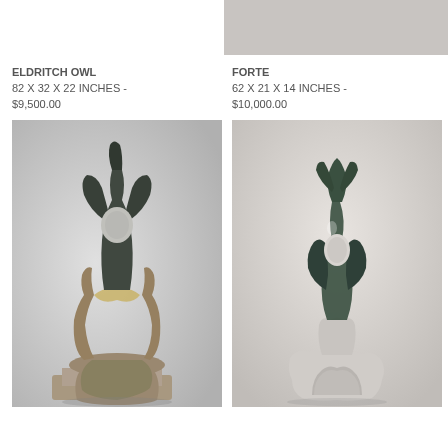[Figure (photo): Partial top portion of a sculpture photo visible at top right of page, light pinkish-grey background]
ELDRITCH OWL
82 X 32 X 22 INCHES - $9,500.00
[Figure (photo): Abstract stone sculpture titled ELDRITCH OWL on grey background. Dark slate-toned upper abstract form with circular hole, mounted on rough granite-like base with flowing lower form.]
FORTE
62 X 21 X 14 INCHES - $10,000.00
[Figure (photo): Abstract stone sculpture titled FORTE on light beige background. Green-toned serpentine upper form with oval void, mounted on rough granite base with arch-like opening.]